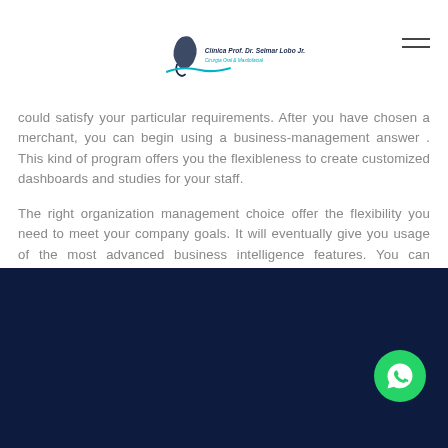Clínica Prof. Dr. Selmar Lobo Jr. – Cirurgia Oral & Maxilofacial
could satisfy your particular requirements. After you have chosen a merchant, you can begin using a business-management answer . This kind of program offers you the flexibleness to create customized dashboards and studies for your staff.
The right organization management choice offer the flexibility you need to meet your company goals. It will eventually give you usage of the most advanced business intelligence features. You can generate and share docs with your crew and clients. It will also help you manage work and minimize human resources. An appropriate platform will make managing your business easier. Additionally, it can integrate with third-party applications. When you have a small business, StudioCloud can help you run it easily.